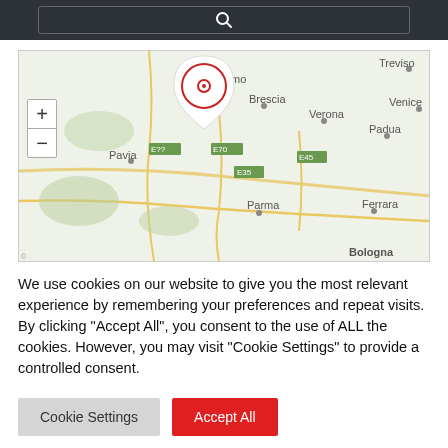Search bar header with search icon
[Figure (map): Interactive map of northern Italy showing cities including Bergamo, Brescia, Verona, Venice, Treviso, Padua, Pavia, Parma, Ferrara, and Bologna. A location pin marker with red circle outline is placed near Milan/Bergamo area. Zoom in (+) and zoom out (-) controls visible on left side.]
We use cookies on our website to give you the most relevant experience by remembering your preferences and repeat visits. By clicking "Accept All", you consent to the use of ALL the cookies. However, you may visit "Cookie Settings" to provide a controlled consent.
Cookie Settings
Accept All